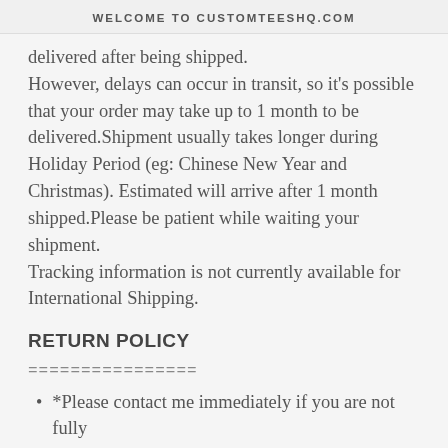WELCOME TO CUSTOMTEESHQ.COM
delivered after being shipped. However, delays can occur in transit, so it's possible that your order may take up to 1 month to be delivered.Shipment usually takes longer during Holiday Period (eg: Chinese New Year and Christmas). Estimated will arrive after 1 month shipped.Please be patient while waiting your shipment. Tracking information is not currently available for International Shipping.
RETURN POLICY
================
*Please contact me immediately if you are not fully